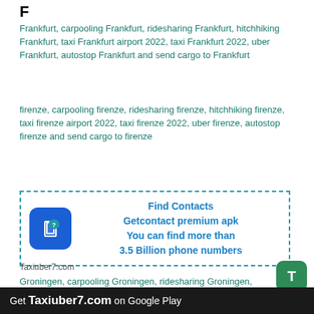F
Frankfurt, carpooling Frankfurt, ridesharing Frankfurt, hitchhiking Frankfurt, taxi Frankfurt airport 2022, taxi Frankfurt 2022, uber Frankfurt, autostop Frankfurt and send cargo to Frankfurt
firenze, carpooling firenze, ridesharing firenze, hitchhiking firenze, taxi firenze airport 2022, taxi firenze 2022, uber firenze, autostop firenze and send cargo to firenze
[Figure (infographic): Advertisement box with dashed blue border, phone icon on blue rounded square, and text: Find Contacts Getcontact premium apk You can find more than 3.5 Billion phone numbers]
Taxiuber7.com
Groningen, carpooling Groningen, ridesharing Groningen, hitchhiking Groningen, taxi Groningen airport 2022, taxi Groningen 2022, uber Groningen, autostop Groningen and send cargo to Groningen
Geneva, carpooling Geneva, ridesharing Geneva, hitchhiking Geneva, taxi Geneva airport 2022, taxi Geneva 2022, uber Geneva, autostop Geneva and send
Get Taxiuber7.com on Google Play